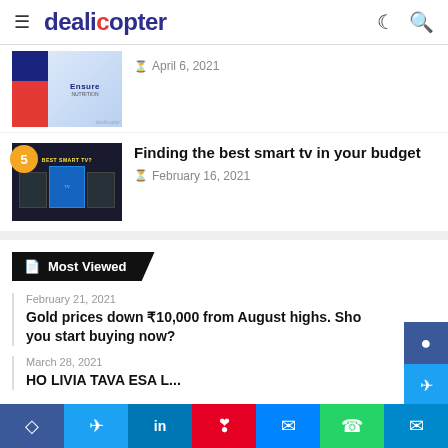dealicopter
[Figure (photo): Partial article thumbnail showing Ensure nutrition product can with blue and red background, date April 6, 2021]
5  Finding the best smart tv in your budget  February 16, 2021
Most Viewed
February 21, 2021 — Gold prices down ₹10,000 from August highs. Should you start buying now?
March 28, 2021 — (partial, cut off)